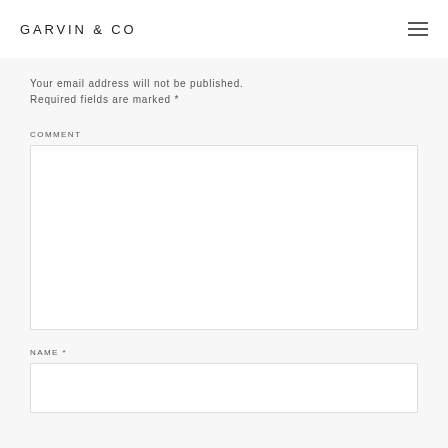GARVIN & CO
Your email address will not be published. Required fields are marked *
COMMENT
NAME *